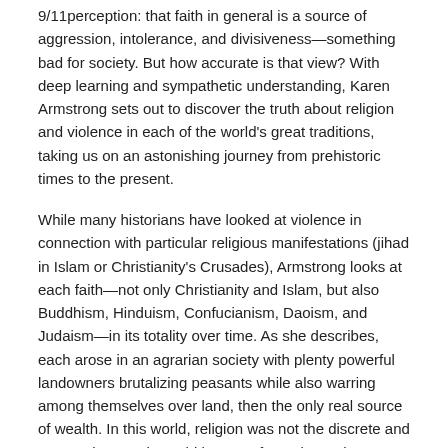9/11perception: that faith in general is a source of aggression, intolerance, and divisiveness—something bad for society. But how accurate is that view? With deep learning and sympathetic understanding, Karen Armstrong sets out to discover the truth about religion and violence in each of the world's great traditions, taking us on an astonishing journey from prehistoric times to the present.
While many historians have looked at violence in connection with particular religious manifestations (jihad in Islam or Christianity's Crusades), Armstrong looks at each faith—not only Christianity and Islam, but also Buddhism, Hinduism, Confucianism, Daoism, and Judaism—in its totality over time. As she describes, each arose in an agrarian society with plenty powerful landowners brutalizing peasants while also warring among themselves over land, then the only real source of wealth. In this world, religion was not the discrete and personal matter it would become for us but rather something that permeated all aspects of society. And so it was that agrarian aggression, and the warrior ethos it begot, became bound up with observances of the sacred.